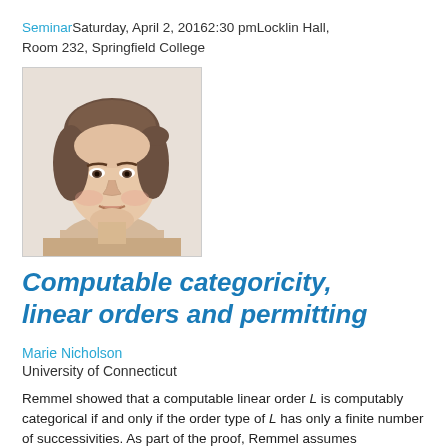Seminar Saturday, April 2, 2016 2:30 pm Locklin Hall, Room 232, Springfield College
[Figure (photo): Headshot photo of Marie Nicholson, a woman with dark hair pulled back, against a white background.]
Computable categoricity, linear orders and permitting
Marie Nicholson
University of Connecticut
Remmel showed that a computable linear order L is computably categorical if and only if the order type of L has only a finite number of successivities. As part of the proof, Remmel assumes